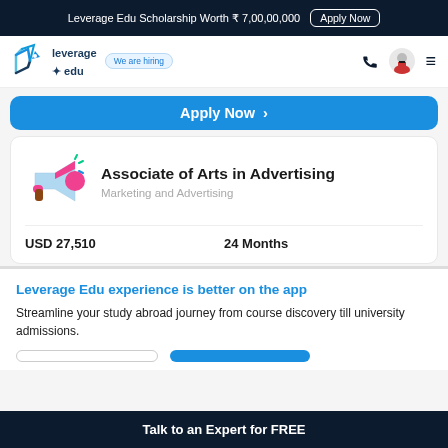Leverage Edu Scholarship Worth ₹ 7,00,00,000  Apply Now
[Figure (logo): Leverage Edu logo with rocket and 'We are hiring' badge, phone icon, avatar, hamburger menu]
Apply Now →
Associate of Arts in Advertising
Marketing and Advertising
USD 27,510    24 Months
Leverage Edu experience is better on the app
Streamline your study abroad journey from course discovery till university admissions.
Talk to an Expert for FREE